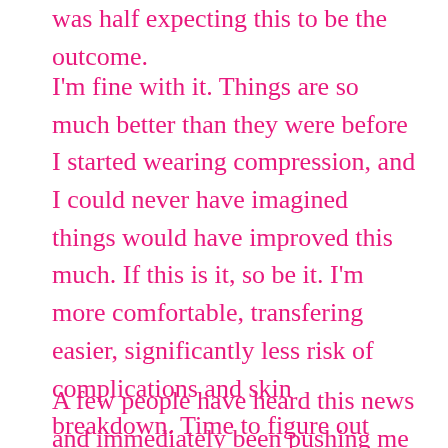was half expecting this to be the outcome.
I'm fine with it. Things are so much better than they were before I started wearing compression, and I could never have imagined things would have improved this much. If this is it, so be it. I'm more comfortable, transfering easier, significantly less risk of complications and skin breakdown. Time to figure out what maintenance looks like (I'm currently being told I'll need the same level of compression but my previous nurse told me last year she thought it might be a tiny bit less so who knows).
A few people have heard this news and immediately been pushing me to do more